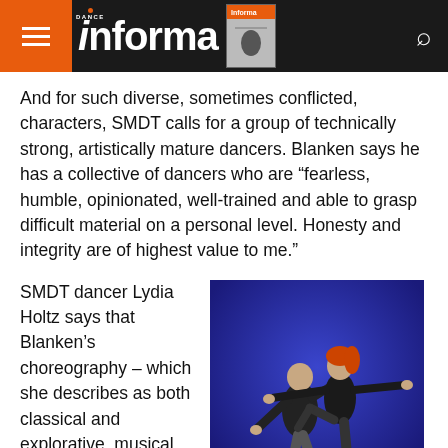Dance Informa
And for such diverse, sometimes conflicted, characters, SMDT calls for a group of technically strong, artistically mature dancers. Blanken says he has a collective of dancers who are “fearless, humble, opinionated, well-trained and able to grasp difficult material on a personal level. Honesty and integrity are of highest value to me.”
SMDT dancer Lydia Holtz says that Blanken’s choreography – which she describes as both classical and explorative, musical and
[Figure (photo): Two dancers performing on a blue-lit stage; a male dancer in dark clothing supports a female dancer with red hair who extends her arms and lifts one leg.]